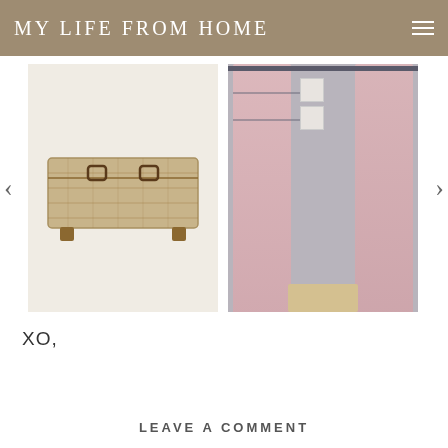MY LIFE FROM HOME
[Figure (photo): Product carousel showing a wicker storage trunk on white background (left) and pink/blush curtain panels in a styled room setting (right), with left and right navigation arrows]
XO,
LEAVE A COMMENT